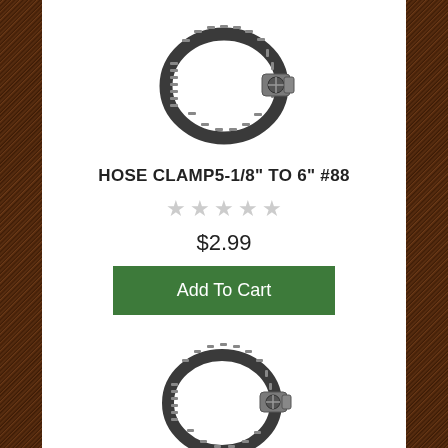[Figure (photo): Metal hose clamp with screw mechanism, viewed from angle, dark metallic color]
HOSE CLAMP5-1/8" TO 6" #88
★★★★★ (empty stars rating)
$2.99
Add To Cart
[Figure (photo): Metal hose clamp with screw mechanism, viewed from angle, dark metallic color, second product]